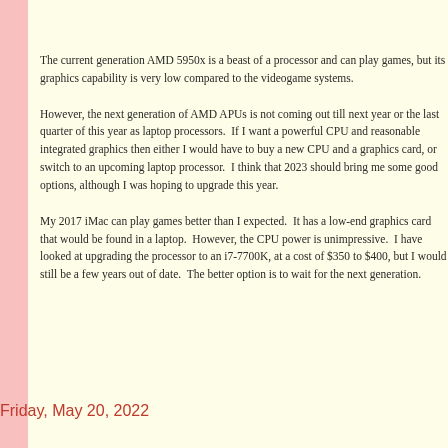The current generation AMD 5950x is a beast of a processor and can play games, but its graphics capability is very low compared to the videogame systems.
However, the next generation of AMD APUs is not coming out till next year or the last quarter of this year as laptop processors. If I want a powerful CPU and reasonable integrated graphics then either I would have to buy a new CPU and a graphics card, or switch to an upcoming laptop processor. I think that 2023 should bring me some good options, although I was hoping to upgrade this year.
My 2017 iMac can play games better than I expected. It has a low-end graphics card that would be found in a laptop. However, the CPU power is unimpressive. I have looked at upgrading the processor to an i7-7700K, at a cost of $350 to $400, but I would still be a few years out of date. The better option is to wait for the next generation.
Posted by John Coffey at 8:19 AM   No comments:
Friday, May 20, 2022